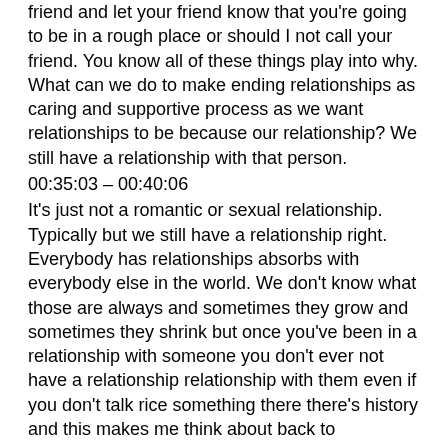friend and let your friend know that you're going to be in a rough place or should I not call your friend. You know all of these things play into why. What can we do to make ending relationships as caring and supportive process as we want relationships to be because our relationship? We still have a relationship with that person.
00:35:03 – 00:40:06
It's just not a romantic or sexual relationship. Typically but we still have a relationship right. Everybody has relationships absorbs with everybody else in the world. We don't know what those are always and sometimes they grow and sometimes they shrink but once you've been in a relationship with someone you don't ever not have a relationship relationship with them even if you don't talk rice something there there's history and this makes me think about back to